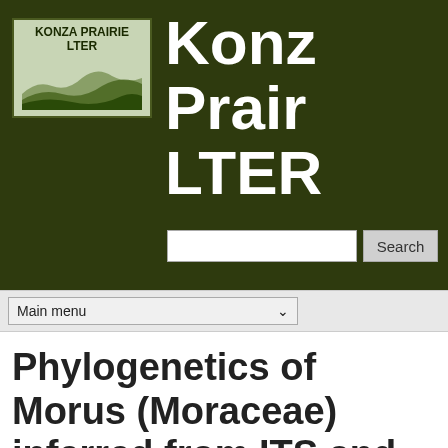[Figure (logo): Konza Prairie LTER logo with green hills illustration and text KONZA PRAIRIE LTER]
Konza Prairie LTER
Search
Main menu
Phylogenetics of Morus (Moraceae) inferred from ITS and trnL-trnF sequence